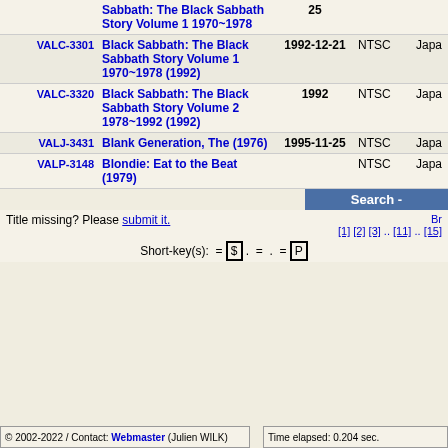| Cat# | Title | Year | Format | Region |
| --- | --- | --- | --- | --- |
|  | Sabbath: The Black Sabbath Story Volume 1 1970~1978 | 25 |  |  |
| VALC-3301 | Black Sabbath: The Black Sabbath Story Volume 1 1970~1978 (1992) | 1992-12-21 | NTSC | Japa |
| VALC-3320 | Black Sabbath: The Black Sabbath Story Volume 2 1978~1992 (1992) | 1992 | NTSC | Japa |
| VALJ-3431 | Blank Generation, The (1976) | 1995-11-25 | NTSC | Japa |
| VALP-3148 | Blondie: Eat to the Beat (1979) |  | NTSC | Japa |
Search -
Title missing? Please submit it.
[1] [2] [3] .. [11] .. [15]
Short-key(s): = [$] . = . = [P]
© 2002-2022 / Contact: Webmaster (Julien WILK)
Time elapsed: 0.204 sec.